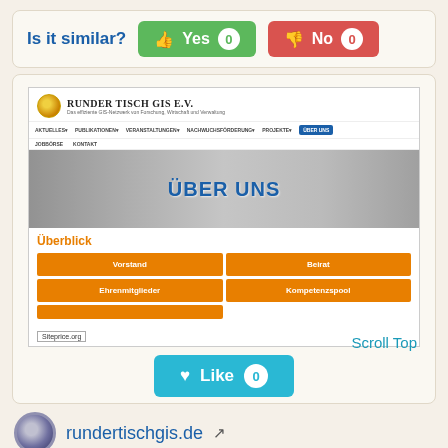Is it similar?
[Figure (screenshot): Screenshot of rundertischgis.de website showing the 'Über uns' page with navigation, hero banner, and orange grid buttons for Vorstand, Beirat, Ehrenmitglieder, Kompetenzspool sections. Siteprice.org badge visible.]
Scroll Top
Like 0
rundertischgis.de
über uns - runder tisch gis